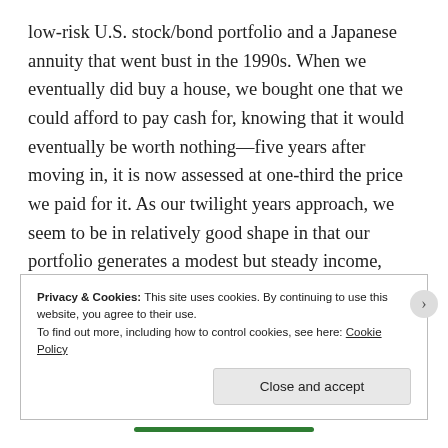low-risk U.S. stock/bond portfolio and a Japanese annuity that went bust in the 1990s. When we eventually did buy a house, we bought one that we could afford to pay cash for, knowing that it would eventually be worth nothing—five years after moving in, it is now assessed at one-third the price we paid for it. As our twilight years approach, we seem to be in relatively good shape in that our portfolio generates a modest but steady income, enough to live off if and when we choose to stop working. We have no debt.
Privacy & Cookies: This site uses cookies. By continuing to use this website, you agree to their use. To find out more, including how to control cookies, see here: Cookie Policy